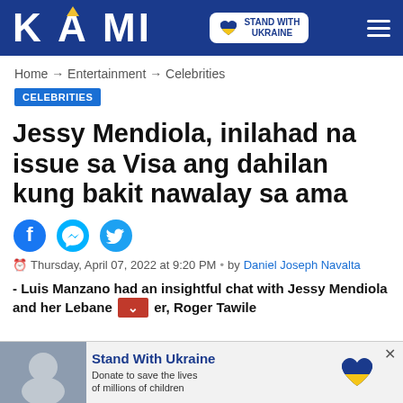KAMI — Stand With Ukraine
Home → Entertainment → Celebrities
CELEBRITIES
Jessy Mendiola, inilahad na issue sa Visa ang dahilan kung bakit nawalay sa ama
Thursday, April 07, 2022 at 9:20 PM • by Daniel Joseph Navalta
- Luis Manzano had an insightful chat with Jessy Mendiola and her Lebanese father, Roger Tawile
[Figure (other): Stand With Ukraine donation advertisement banner at bottom of page]